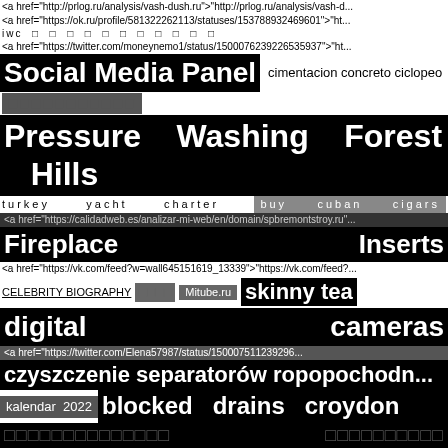<a href="http://prlog.ru/analysis/vash-dush.ru">"http://prlog.ru/analysis/vash-d...
<a href="https://ok.ru/profile/581322262113/statuses/153788932469601">"ht...
iwc □ □ □ □ □ □ □ □ □ □ □
<a href="https://twitter.com/moneynemo1/status/1500076239226535937">"ht...
Social Media Panel
cimentacion concreto ciclopeo
□□□□□□□□□□□
Pressure Washing Forest Hills
turkey        yacht        charter
buy        cuban        cigars
<a href="https://calidadweb.es/analizar-mi-web/en/domain/spbremontstroy.ru"...
Fireplace                                     Inserts
<a href="https://vk.com/feed?w=wall645151619_13339">"https://vk.com/feed?...
CELEBRITY BIOGRAPHY
□□□□
Mitube.ru
skinny tea
digital                                         cameras
<a href="https://twitter.com/Elena57987/status/150007511239296...
czyszczenie separatorów ropopochodn...
kalendar 2022
blocked drains croydon
□□□□□□□□□□□□□□
□□□□□□□□□□
flowers   delivery   for   tomorrow
□□□□□□□
agen    judi    bola    sbobet    resmi
https://bazzarstone.com
Long Sleeve Tops for Women
google...